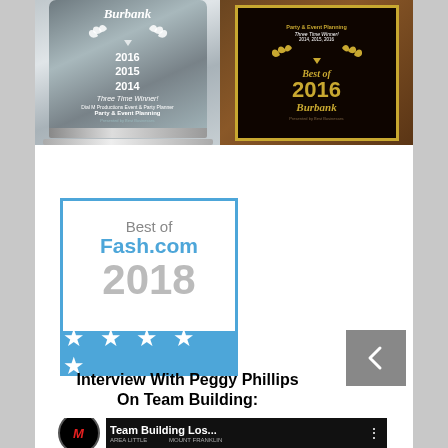[Figure (photo): Silver award plaque for Burbank, Three Time Winner 2014, 2015, 2016, Dial M Productions Event & Party Planner, Party & Event Planning]
[Figure (photo): Wooden award plaque with gold border, Party & Event Planning, Three Time Winner! 2014, 2015, 2016, Best of 2016 Burbank]
[Figure (photo): Best of Fash.com 2018 award badge with 5 stars on blue bar]
Interview With Peggy Phillips On Team Building:
[Figure (screenshot): Video thumbnail for Team Building Los... with Dial M Productions logo, showing AREA LITTLE and MOUNT FRANKLIN text]